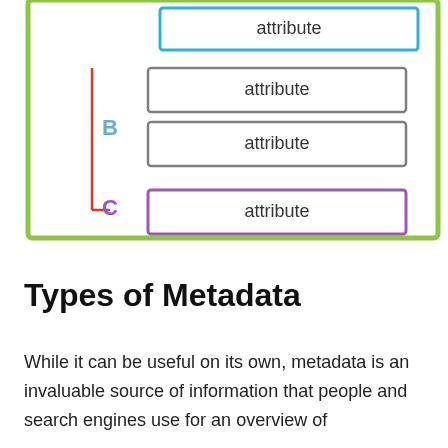[Figure (schematic): Diagram showing a green-bordered container with labeled attribute boxes. Label B points to two gray-bordered attribute boxes stacked vertically. Label C points to one purple-bordered attribute box. A red vertical line on the left side connects B and C. At the top, a cyan/blue-bordered attribute box is partially visible.]
Types of Metadata
While it can be useful on its own, metadata is an invaluable source of information that people and search engines use for an overview of